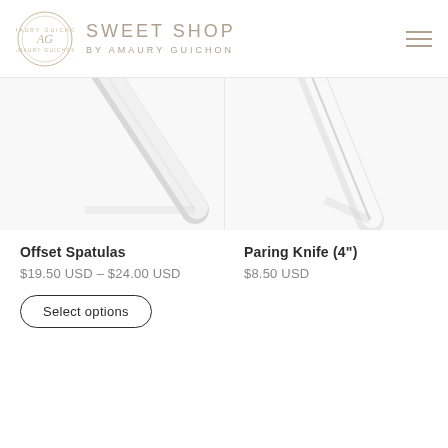SWEET SHOP BY AMAURY GUICHON
[Figure (photo): Two product images side by side: left shows an offset spatula (silver/white blade with small black handle label), right shows a paring knife (white blade with dark navy handle) on white background]
Offset Spatulas
$19.50 USD – $24.00 USD
Paring Knife (4")
$8.50 USD
Select options